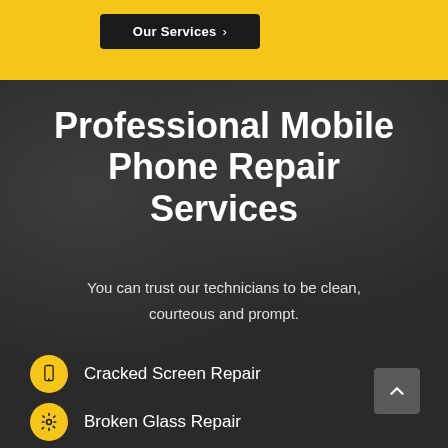Our Services >
Professional Mobile Phone Repair Services
You can trust our technicians to be clean, courteous and prompt.
Cracked Screen Repair
Broken Glass Repair